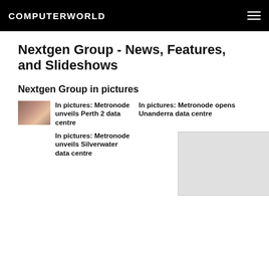COMPUTERWORLD
Nextgen Group - News, Features, and Slideshows
Nextgen Group in pictures
[Figure (photo): Thumbnail photo of people at a data centre event]
In pictures: Metronode unveils Perth 2 data centre
In pictures: Metronode opens Unanderra data centre
In pictures: Metronode unveils Silverwater data centre
[Figure (photo): Placeholder image for Silverwater data centre article]